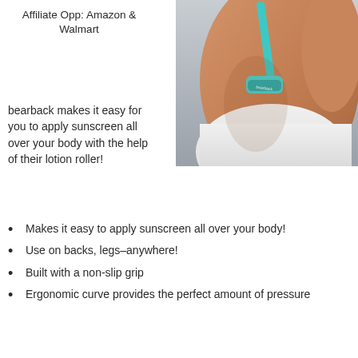Affiliate Opp: Amazon & Walmart
[Figure (photo): A person applying sunscreen to their back using a teal/turquoise long-handled lotion roller applicator (bearback brand). The person is wearing a white top and the photo shows their back and shoulder.]
bearback makes it easy for you to apply sunscreen all over your body with the help of their lotion roller!
Makes it easy to apply sunscreen all over your body!
Use on backs, legs–anywhere!
Built with a non-slip grip
Ergonomic curve provides the perfect amount of pressure